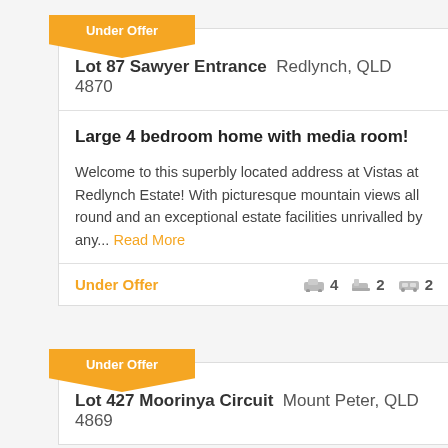Under Offer
Lot 87 Sawyer Entrance  Redlynch, QLD 4870
Large 4 bedroom home with media room!
Welcome to this superbly located address at Vistas at Redlynch Estate! With picturesque mountain views all round and an exceptional estate facilities unrivalled by any... Read More
Under Offer  4  2  2
Under Offer
Lot 427 Moorinya Circuit  Mount Peter, QLD 4869